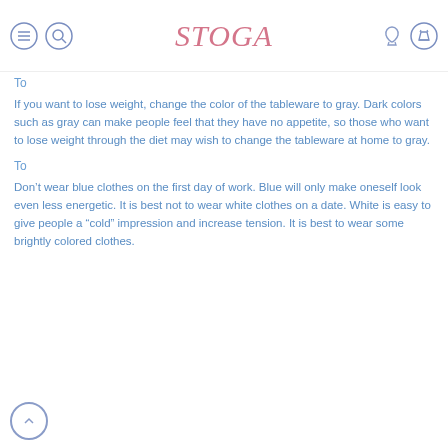STOGA navigation header
To
If you want to lose weight, change the color of the tableware to gray. Dark colors such as gray can make people feel that they have no appetite, so those who want to lose weight through the diet may wish to change the tableware at home to gray.
To
Don't wear blue clothes on the first day of work. Blue will only make oneself look even less energetic. It is best not to wear white clothes on a date. White is easy to give people a “cold” impression and increase tension. It is best to wear some brightly colored clothes.